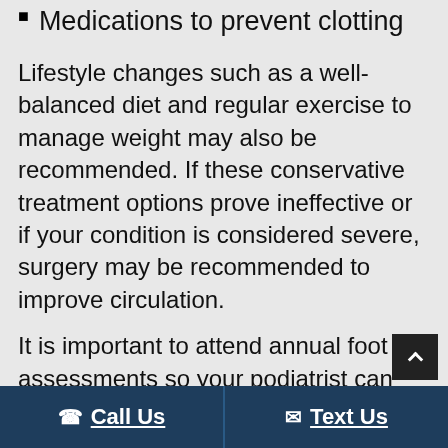Managing blood sugar levels
Medications to prevent clotting
Lifestyle changes such as a well-balanced diet and regular exercise to manage weight may also be recommended. If these conservative treatment options prove ineffective or if your condition is considered severe, surgery may be recommended to improve circulation.
It is important to attend annual foot assessments so your podiatrist can monitor your foot health. Early detection can allow you to lower your risks and slow the progression of the disease so that you can continue to live a happy, healthy life. For more information on peripheral artery disease and your foot health or to schedule an appointment, contact Family Foot Health Center today.